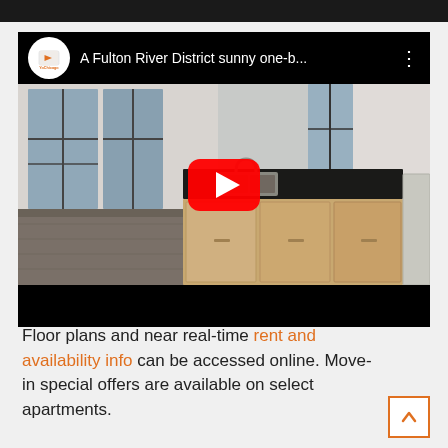[Figure (screenshot): YouTube video embed showing a Fulton River District sunny one-bedroom apartment interior with kitchen island, hardwood floors, and large windows. Video title: 'A Fulton River District sunny one-b...' with YoChicago logo.]
Floor plans and near real-time rent and availability info can be accessed online. Move-in special offers are available on select apartments.